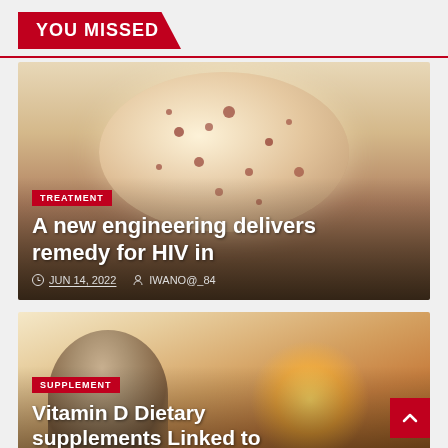YOU MISSED
[Figure (photo): Close-up of a petri dish with pink/tan background showing bacterial colonies or viral particles as small red/brown dots on a round dish surface]
TREATMENT
A new engineering delivers remedy for HIV in
JUN 14, 2022   IWANO@_84
[Figure (photo): Elderly person with curly white/gray hair seen from the side, bathed in warm golden sunset light, outdoors against a golden sky horizon]
SUPPLEMENT
Vitamin D Dietary supplements Linked to